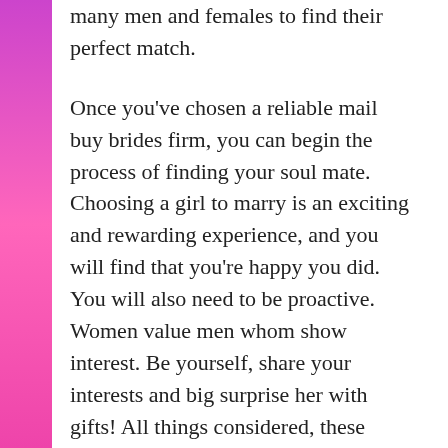many men and females to find their perfect match.
Once you've chosen a reliable mail buy brides firm, you can begin the process of finding your soul mate. Choosing a girl to marry is an exciting and rewarding experience, and you will find that you're happy you did. You will also need to be proactive. Women value men whom show interest. Be yourself, share your interests and big surprise her with gifts! All things considered, these signals will go quite a distance to cement your relationship.
After you've chosen a reputable all mail order brides to be site, take some time to fill out a